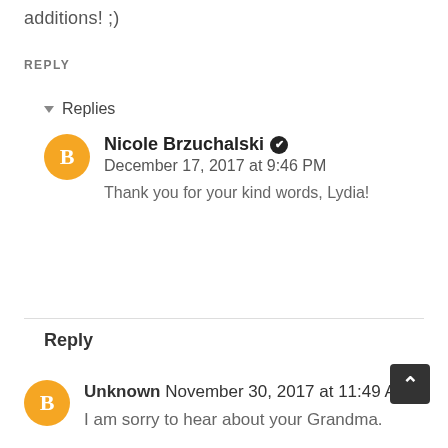additions! ;)
REPLY
▾ Replies
Nicole Brzuchalski ✔ December 17, 2017 at 9:46 PM
Thank you for your kind words, Lydia!
Reply
Unknown November 30, 2017 at 11:49 AM
I am sorry to hear about your Grandma.